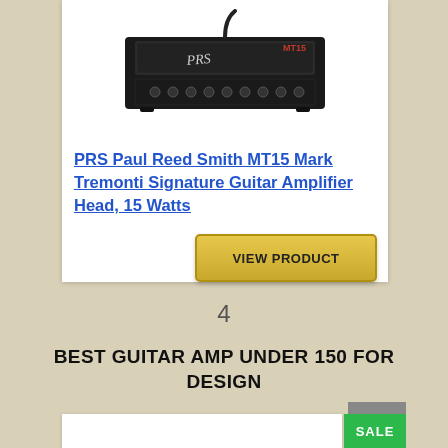[Figure (photo): PRS Paul Reed Smith MT15 guitar amplifier head — black rectangular amp head with knobs and PRS signature logo, labeled MT15 in red on top right corner]
PRS Paul Reed Smith MT15 Mark Tremonti Signature Guitar Amplifier Head, 15 Watts
VIEW PRODUCT
4
BEST GUITAR AMP UNDER 150 FOR DESIGN
[Figure (other): Partial bottom white card with SALE green badge visible at bottom right]